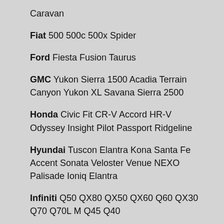Caravan
Fiat 500 500c 500x Spider
Ford Fiesta Fusion Taurus
GMC Yukon Sierra 1500 Acadia Terrain Canyon Yukon XL Savana Sierra 2500
Honda Civic Fit CR-V Accord HR-V Odyssey Insight Pilot Passport Ridgeline
Hyundai Tuscon Elantra Kona Santa Fe Accent Sonata Veloster Venue NEXO Palisade Ioniq Elantra
Infiniti Q50 QX80 QX50 QX60 Q60 QX30 Q70 Q70L M Q45 Q40